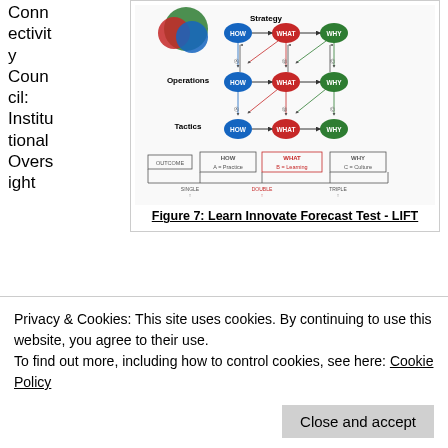Connectivity Council: Institutional Oversight
[Figure (infographic): Learn Innovate Forecast Test (LIFT) diagram showing Strategy, Operations, and Tactics levels with HOW, WHAT, WHY nodes interconnected by arrows. Legend: A=Practice (HOW), B=Learning (WHAT), C=Culture (WHY). Single, Double, Triple loop labels.]
Figure 7: Learn Innovate Forecast Test - LIFT
and Advisory Board with senior members from IEEE, World Bank and invited institutions to be substantively involved.
2. Learning Lab Network: All involved participate within a
Privacy & Cookies: This site uses cookies. By continuing to use this website, you agree to their use.
To find out more, including how to control cookies, see here: Cookie Policy
Close and accept
Connectivity Council on the Why.